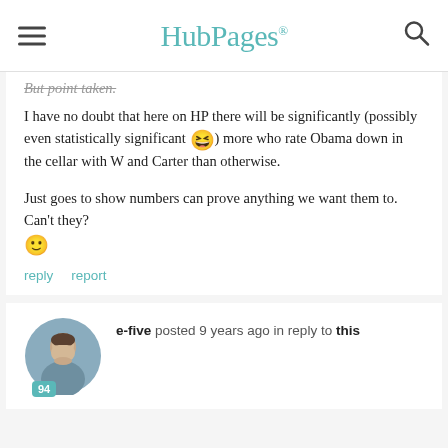HubPages
But point taken.
I have no doubt that here on HP there will be significantly (possibly even statistically significant 😆) more who rate Obama down in the cellar with W and Carter than otherwise.
Just goes to show numbers can prove anything we want them to. Can't they? 🙂
reply   report
e-five posted 9 years ago in reply to this